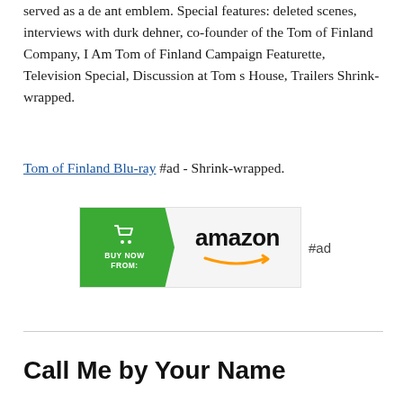served as a de ant emblem. Special features: deleted scenes, interviews with durk dehner, co-founder of the Tom of Finland Company, I Am Tom of Finland Campaign Featurette, Television Special, Discussion at Tom s House, Trailers Shrink-wrapped.
Tom of Finland Blu-ray #ad - Shrink-wrapped.
[Figure (other): Amazon Buy Now button banner with green arrow on left side showing shopping cart icon and 'BUY NOW FROM:' text, and Amazon logo with smile arrow on gray/white right side. Followed by '#ad' text.]
Call Me by Your Name